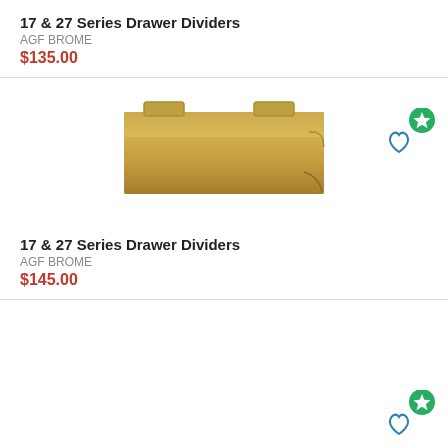17 & 27 Series Drawer Dividers
AGF BROME
$135.00
[Figure (photo): Gold/brass colored metal drawer divider plate with small tabs on top]
17 & 27 Series Drawer Dividers
AGF BROME
$145.00